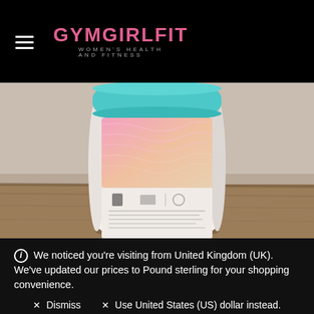GYMGIRLFIT WOMEN'S HEALTH AND FITNESS
[Figure (photo): Back of a white cylindrical supplement container with a teal/turquoise lid, featuring a pink and peach gradient design on the label, placed on a wooden surface. Text on label includes workout supplement description and usage instructions.]
We noticed you're visiting from United Kingdom (UK). We've updated our prices to Pound sterling for your shopping convenience.
✕ Dismiss   ✕ Use United States (US) dollar instead.